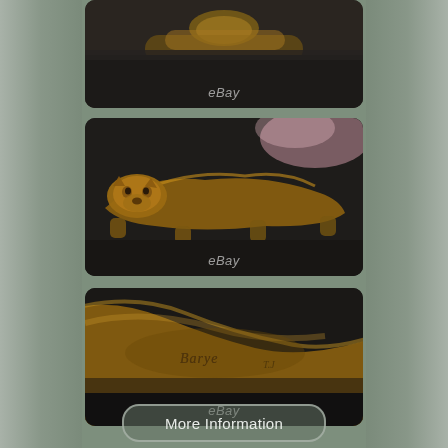[Figure (photo): Top photo: close-up of a bronze animal sculpture (big cat/panther) shown from above on a dark surface, with eBay watermark]
[Figure (photo): Middle photo: side/front view of a bronze prowling panther/big cat sculpture with golden-brown patina, with eBay watermark]
[Figure (photo): Bottom photo: close-up of the base of the bronze sculpture showing an engraved signature reading 'Barye', with eBay watermark]
More Information